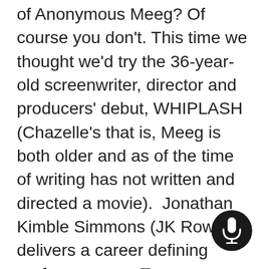of Anonymous Meeg? Of course you don't. This time we thought we'd try the 36-year-old screenwriter, director and producers' debut, WHIPLASH (Chazelle's that is, Meeg is both older and as of the time of writing has not written and directed a movie).  Jonathan Kimble Simmons (JK Rowling) delivers a career defining performance as Terence Fletcher, the psychotic music teacher at the fictional Schaffer Conservatory who pushes Miles Teller's Andrew to realise his true potential as a jazz drummer through whatever means necessary. An exhilarating and thought-provoking examination of what it means to be truly exceptional at something and whether it's worth the costs, Simmons and Chazelle have together crazy created one of cinema's truly iconic villain in this blistering and breath-taking award winner.
[Figure (other): Dark circular microphone button overlay in the bottom-right area of the page]